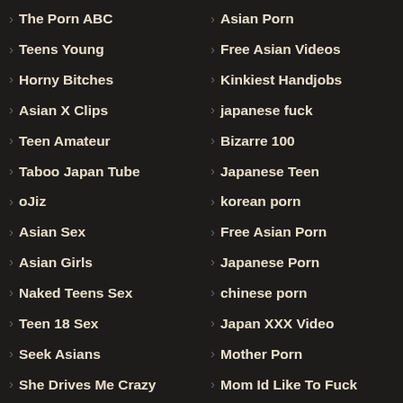The Porn ABC
Asian Porn
Teens Young
Free Asian Videos
Horny Bitches
Kinkiest Handjobs
Asian X Clips
japanese fuck
Teen Amateur
Bizarre 100
Taboo Japan Tube
Japanese Teen
oJiz
korean porn
Asian Sex
Free Asian Porn
Asian Girls
Japanese Porn
Naked Teens Sex
chinese porn
Teen 18 Sex
Japan XXX Video
Seek Asians
Mother Porn
She Drives Me Crazy
Mom Id Like To Fuck